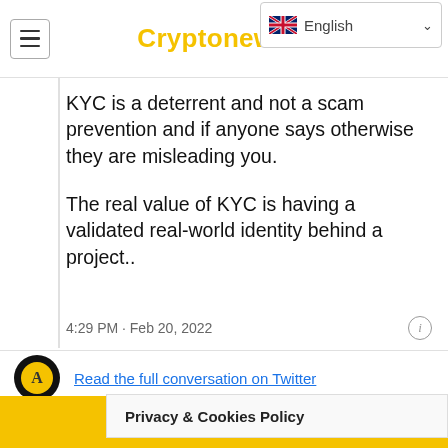Cryptonews24
[Figure (screenshot): Language selector dropdown showing English with UK flag]
KYC is a deterrent and not a scam prevention and if anyone says otherwise they are misleading you.

The real value of KYC is having a validated real-world identity behind a project..
4:29 PM · Feb 20, 2022
Read the full conversation on Twitter
130  Reply  Copy link
TELEGRAM
Privacy & Cookies Policy